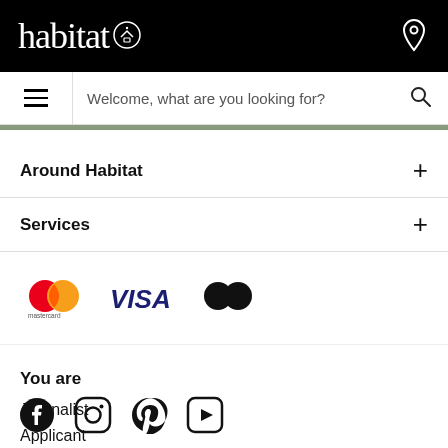habitat (logo with house icon) | location pin icon
Welcome, what are you looking for?
Around Habitat
Services
[Figure (logo): Payment logos: Mastercard, VISA, CB]
You are
Journalist
Applicant
[Figure (infographic): Social media icons: Facebook, Instagram, Pinterest, YouTube]